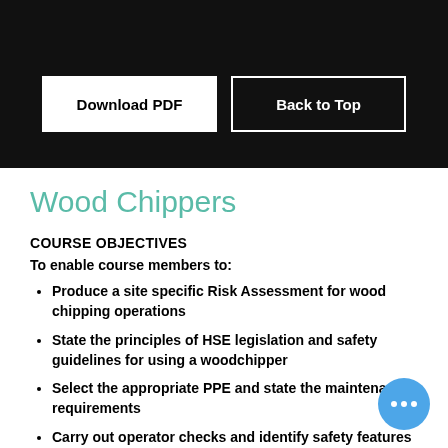[Figure (other): Black banner background with Download PDF and Back to Top buttons]
Wood Chippers
COURSE OBJECTIVES
To enable course members to:
Produce a site specific Risk Assessment for wood chipping operations
State the principles of HSE legislation and safety guidelines for using a woodchipper
Select the appropriate PPE and state the maintenance requirements
Carry out operator checks and identify safety features of a woodchipper